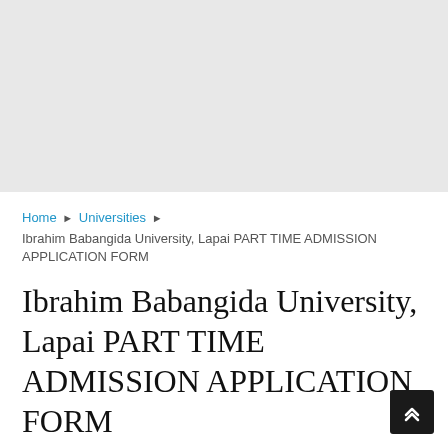Home ▶ Universities ▶ Ibrahim Babangida University, Lapai PART TIME ADMISSION APPLICATION FORM
Ibrahim Babangida University, Lapai PART TIME ADMISSION APPLICATION FORM
Kimtan   May 17, 2022   Universities   No Comments